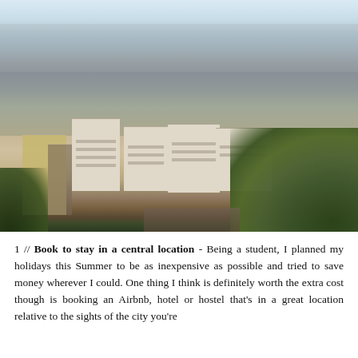[Figure (photo): Aerial panoramic view of Paris from an elevated vantage point (likely Montmartre), showing dense Haussmann-style buildings, rooftops stretching to the horizon, green trees in the foreground right, and a light blue sky with city skyline in the distance.]
1 // Book to stay in a central location - Being a student, I planned my holidays this Summer to be as inexpensive as possible and tried to save money wherever I could. One thing I think is definitely worth the extra cost though is booking an Airbnb, hotel or hostel that's in a great location relative to the sights of the city you're